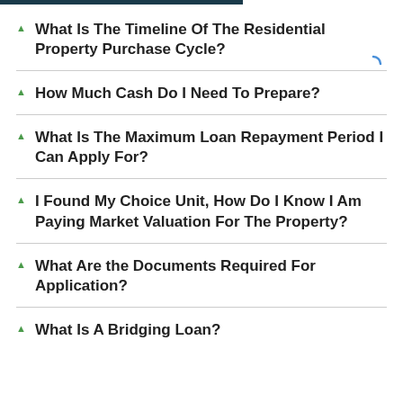What Is The Timeline Of The Residential Property Purchase Cycle?
How Much Cash Do I Need To Prepare?
What Is The Maximum Loan Repayment Period I Can Apply For?
I Found My Choice Unit, How Do I Know I Am Paying Market Valuation For The Property?
What Are the Documents Required For Application?
What Is A Bridging Loan?